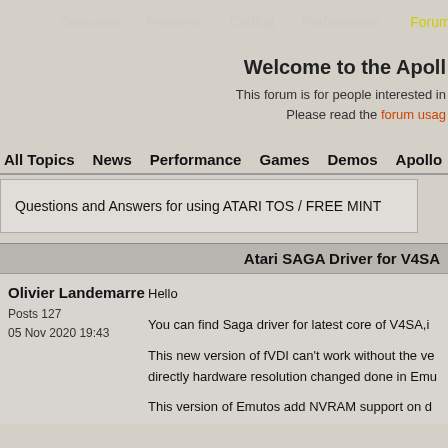Overview   Features   Coding   Performance   Forum
Welcome to the Apoll
This forum is for people interested in
Please read the forum usag
All Topics   News   Performance   Games   Demos   Apollo
Questions and Answers for using ATARI TOS / FREE MINT
Atari SAGA Driver for V4SA
Olivier Landemarre
Posts 127
05 Nov 2020 19:43
Hello

You can find Saga driver for latest core of V4SA,i

This new version of fVDI can't work without the ve directly hardware resolution changed done in Emu

This version of Emutos add NVRAM support on d